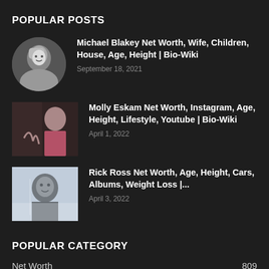POPULAR POSTS
Michael Blakey Net Worth, Wife, Children, House, Age, Height | Bio-Wiki — September 18, 2021
Molly Eskam Net Worth, Instagram, Age, Height, Lifestyle, Youtube | Bio-Wiki — April 1, 2022
Rick Ross Net Worth, Age, Height, Cars, Albums, Weight Loss |... — April 3, 2022
POPULAR CATEGORY
Net Worth  809